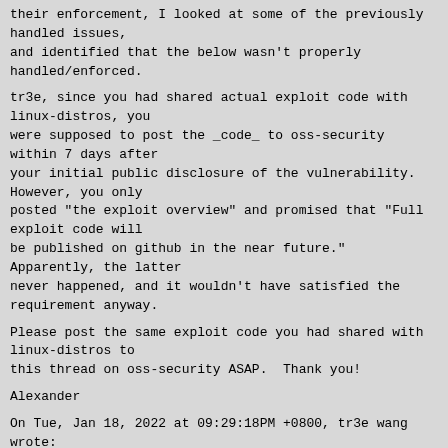their enforcement, I looked at some of the previously handled issues,
and identified that the below wasn't properly handled/enforced.
tr3e, since you had shared actual exploit code with linux-distros, you
were supposed to post the _code_ to oss-security within 7 days after
your initial public disclosure of the vulnerability. However, you only
posted "the exploit overview" and promised that "Full exploit code will
be published on github in the near future." Apparently, the latter
never happened, and it wouldn't have satisfied the requirement anyway.
Please post the same exploit code you had shared with linux-distros to
this thread on oss-security ASAP.  Thank you!
Alexander
On Tue, Jan 18, 2022 at 09:29:18PM +0800, tr3e wang wrote:
> Hi all,
>
>
> This post is the exploit overview of CVE-2022-23222.